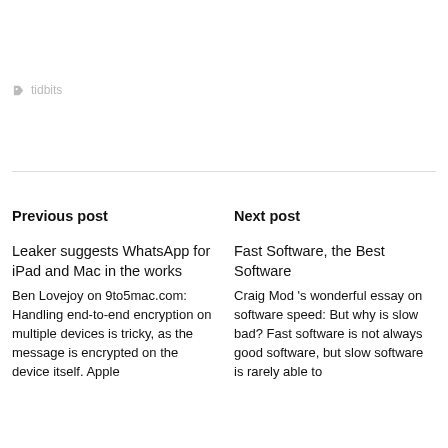tidbits
Previous post
Next post
Leaker suggests WhatsApp for iPad and Mac in the works
Ben Lovejoy on 9to5mac.com: Handling end-to-end encryption on multiple devices is tricky, as the message is encrypted on the device itself. Apple
Fast Software, the Best Software
Craig Mod 's wonderful essay on software speed: But why is slow bad? Fast software is not always good software, but slow software is rarely able to